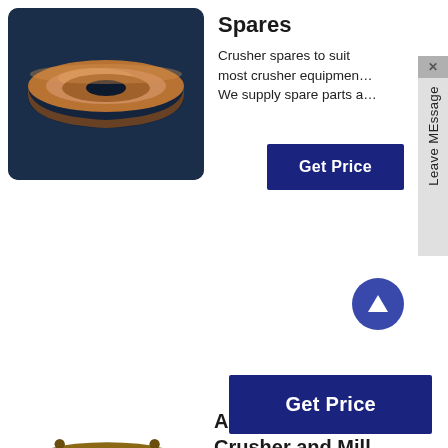[Figure (photo): Bronze/copper crusher concave or bowl liner part, circular, on dark blue background]
Spares
Crusher spares to suit most crusher equipment. We supply spare parts a…
Get Price
[Figure (photo): Bronze/brass crusher threaded bushing or nut part, cylindrical with threading, on white background]
AMIT 129: Lesson 12 Crusher and Mill Operation Safety
Moving machine parts; Drive gear; Crusher Blockage. Clearing…
Get Price